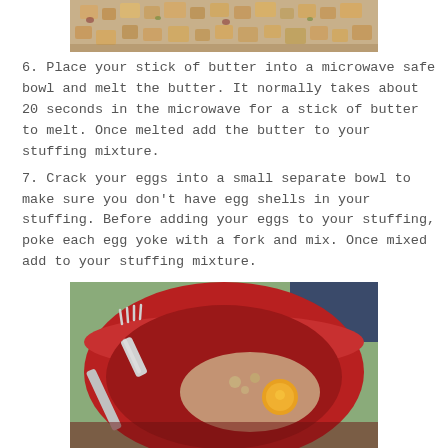[Figure (photo): Top portion of a bowl of stuffing with bread cubes and other ingredients visible from above]
6. Place your stick of butter into a microwave safe bowl and melt the butter.  It normally takes about 20 seconds in the microwave for a stick of butter to melt.  Once melted add the butter to your stuffing mixture.
7. Crack your eggs into a small separate bowl to make sure you don't have egg shells in your stuffing.  Before adding your eggs to your stuffing, poke each egg yoke with a fork and mix.  Once mixed add to your stuffing mixture.
[Figure (photo): A red bowl containing a cracked egg with yolk visible and a silver fork resting inside the bowl]